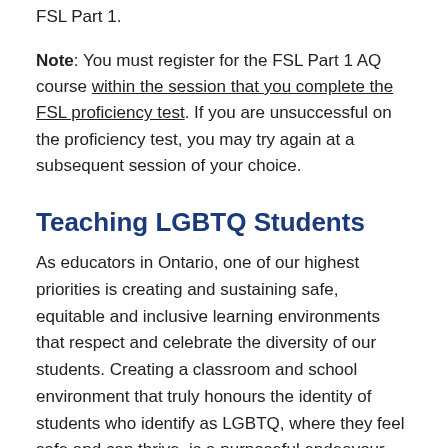FSL Part 1.
Note: You must register for the FSL Part 1 AQ course within the session that you complete the FSL proficiency test. If you are unsuccessful on the proficiency test, you may try again at a subsequent session of your choice.
Teaching LGBTQ Students
As educators in Ontario, one of our highest priorities is creating and sustaining safe, equitable and inclusive learning environments that respect and celebrate the diversity of our students. Creating a classroom and school environment that truly honours the identity of students who identify as LGBTQ, where they feel safe and can thrive, is a purposeful endeavour, and one which has positive results for all students. Critical to this course is the modelling of a positive learning environment that reflects a safe, inclusive and celebratory situation…